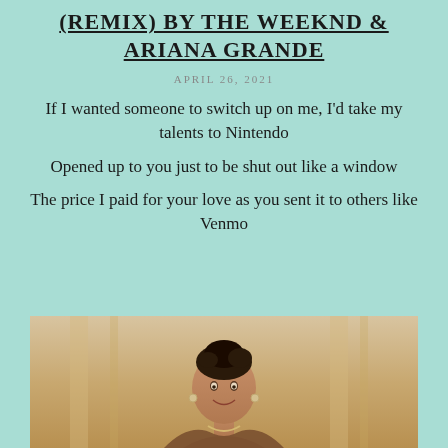REPLAYS: SAVE YOUR TEARS (REMIX) BY THE WEEKND & ARIANA GRANDE
APRIL 26, 2021
If I wanted someone to switch up on me, I'd take my talents to Nintendo
Opened up to you just to be shut out like a window
The price I paid for your love as you sent it to others like Venmo
[Figure (photo): A woman in formal attire with upswept hair and earrings, smiling, photographed indoors]